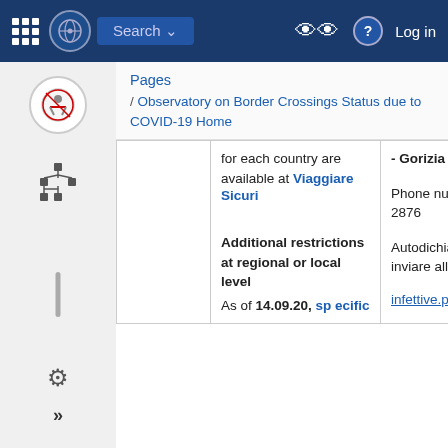Search | Log in
Pages / Observatory on Border Crossings Status due to COVID-19 Home
|  | for each country are available at Viaggiare Sicuri | - Gorizia – ASL Gorizia Phone number 0481/59 2876 Autodichiarazione da inviare all'indirizzo email infettive.profilassi@asugi.sanita.fvg.it |  |
| --- | --- | --- | --- |
|  | Additional restrictions at regional or local level As of 14.09.20, specific |  |  |